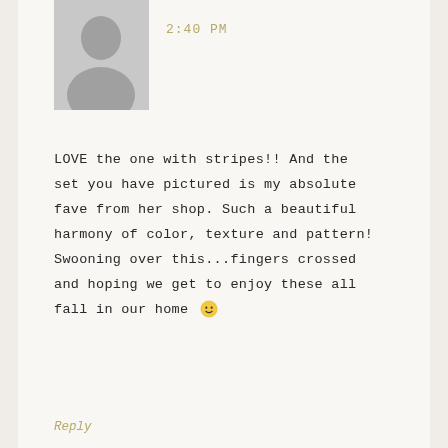[Figure (photo): Gray placeholder avatar silhouette of a person]
2:40 PM
LOVE the one with stripes!! And the set you have pictured is my absolute fave from her shop. Such a beautiful harmony of color, texture and pattern! Swooning over this...fingers crossed and hoping we get to enjoy these all fall in our home 🙂
https://www.etsy.com/ca/listing/248194241/fabri pumpkins-velvet-pumpkins-mixed? ref=shop_home_active_14
Reply